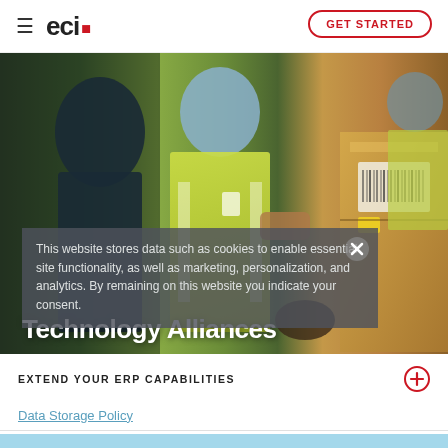≡  eci.  GET STARTED
[Figure (photo): Two warehouse workers in yellow safety vests handling boxes in a warehouse/distribution center setting]
This website stores data such as cookies to enable essential site functionality, as well as marketing, personalization, and analytics. By remaining on this website you indicate your consent.
Technology Alliances
EXTEND YOUR ERP CAPABILITIES
Data Storage Policy